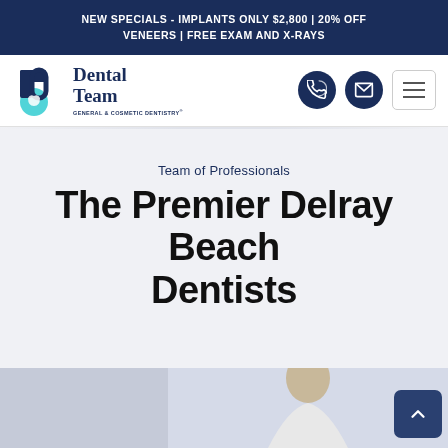NEW SPECIALS - IMPLANTS ONLY $2,800 | 20% OFF VENEERS | FREE EXAM AND X-RAYS
[Figure (logo): Dental Team General & Cosmetic Dentistry logo with teal tooth icon and dark navy text]
Team of Professionals
The Premier Delray Beach Dentists
[Figure (photo): Partial view of a dentist in white coat, cropped at bottom of page]